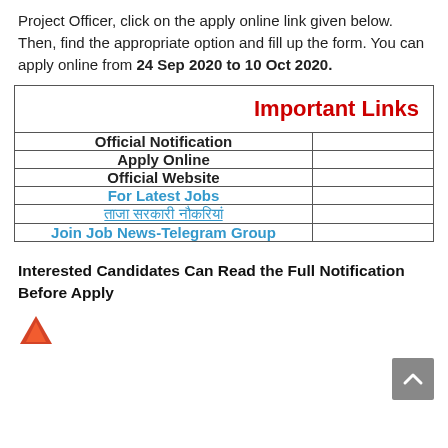Project Officer, click on the apply online link given below. Then, find the appropriate option and fill up the form. You can apply online from 24 Sep 2020 to 10 Oct 2020.
|  |  |
| --- | --- |
| Important Links |  |
| Official Notification |  |
| Apply Online |  |
| Official Website |  |
| For Latest Jobs |  |
| ताजा सरकारी नौकरियां |  |
| Join Job News-Telegram Group |  |
Interested Candidates Can Read the Full Notification Before Apply